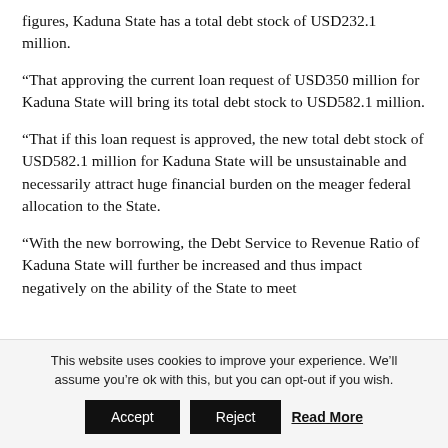figures, Kaduna State has a total debt stock of USD232.1 million.
“That approving the current loan request of USD350 million for Kaduna State will bring its total debt stock to USD582.1 million.
“That if this loan request is approved, the new total debt stock of USD582.1 million for Kaduna State will be unsustainable and necessarily attract huge financial burden on the meager federal allocation to the State.
“With the new borrowing, the Debt Service to Revenue Ratio of Kaduna State will further be increased and thus impact negatively on the ability of the State to meet
This website uses cookies to improve your experience. We’ll assume you’re ok with this, but you can opt-out if you wish.